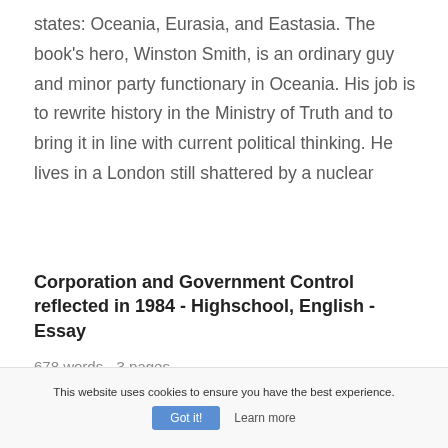states: Oceania, Eurasia, and Eastasia. The book's hero, Winston Smith, is an ordinary guy and minor party functionary in Oceania. His job is to rewrite history in the Ministry of Truth and to bring it in line with current political thinking. He lives in a London still shattered by a nuclear
Corporation and Government Control reflected in 1984 - Highschool, English - Essay
678 words - 3 pages
This website uses cookies to ensure you have the best experience.